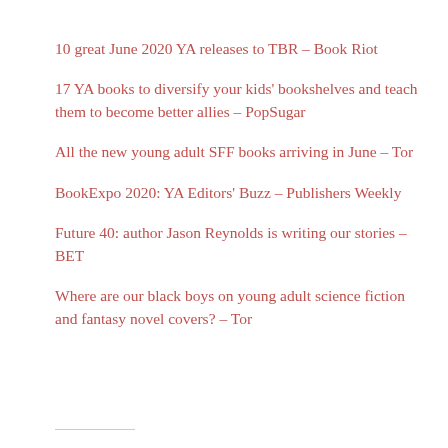10 great June 2020 YA releases to TBR – Book Riot
17 YA books to diversify your kids' bookshelves and teach them to become better allies – PopSugar
All the new young adult SFF books arriving in June – Tor
BookExpo 2020: YA Editors' Buzz – Publishers Weekly
Future 40: author Jason Reynolds is writing our stories – BET
Where are our black boys on young adult science fiction and fantasy novel covers? – Tor